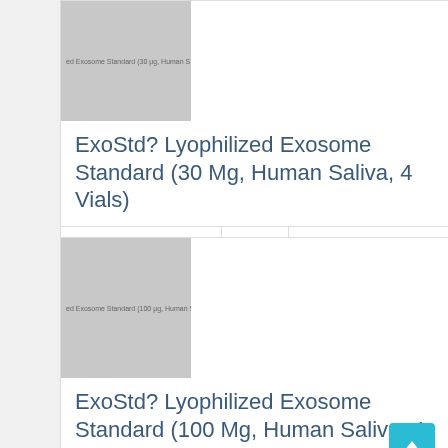[Figure (photo): Product image placeholder for ExoStd Lyophilized Exosome Standard (30 Mg, Human Saliva, 4 Vials) - grey rectangle with small label text]
ExoStd? Lyophilized Exosome Standard (30 Mg, Human Saliva, 4 Vials)
| M1046-4 |  | EUR 914 |
[Figure (photo): Product image placeholder for ExoStd Lyophilized Exosome Standard (100 Mg, Human Saliva, 4 Vials) - grey rectangle with small label text]
ExoStd? Lyophilized Exosome Standard (100 Mg, Human Saliva, 4 Vials)
| M1047-4 |  | EUR 1137 |